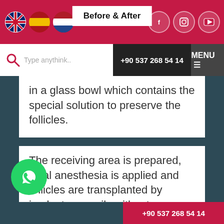[Figure (screenshot): Website header with flag icons (UK, Spain, Netherlands), Before & After button, and social media icons (Facebook, Instagram, YouTube) on crimson background]
[Figure (screenshot): Navigation bar with search field 'Type anythink..', phone number '+90 537 268 54 14', and MENU button]
in a glass bowl which contains the special solution to preserve the follicles.
The receiving area is prepared, local anesthesia is applied and follicles are transplanted by implanter pencils without
[Figure (logo): WhatsApp button - green circle with phone/chat icon]
+90 537 268 54 14